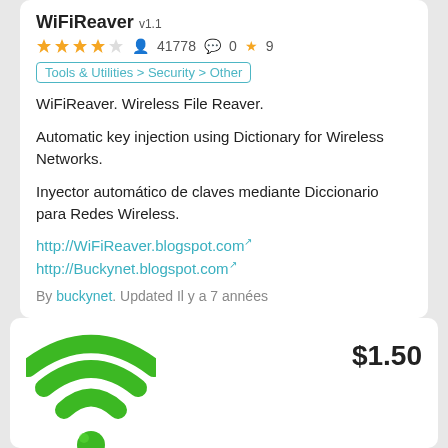WiFiReaver v1.1
★★★★☆ 41778 💬 0 ★ 9
Tools & Utilities > Security > Other
WiFiReaver. Wireless File Reaver.
Automatic key injection using Dictionary for Wireless Networks.
Inyector automático de claves mediante Diccionario para Redes Wireless.
http://WiFiReaver.blogspot.com
http://Buckynet.blogspot.com
By buckynet. Updated Il y a 7 années
[Figure (logo): Green WiFi signal icon logo for WiFiReaver app]
$1.50
WiFiReaver v1.1
★★★☆☆ 78 💬 0 ★ 0